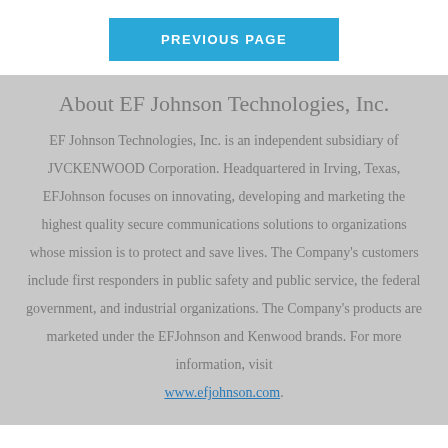PREVIOUS PAGE
About EF Johnson Technologies, Inc.
EF Johnson Technologies, Inc. is an independent subsidiary of JVCKENWOOD Corporation. Headquartered in Irving, Texas, EFJohnson focuses on innovating, developing and marketing the highest quality secure communications solutions to organizations whose mission is to protect and save lives. The Company's customers include first responders in public safety and public service, the federal government, and industrial organizations. The Company's products are marketed under the EFJohnson and Kenwood brands. For more information, visit www.efjohnson.com.